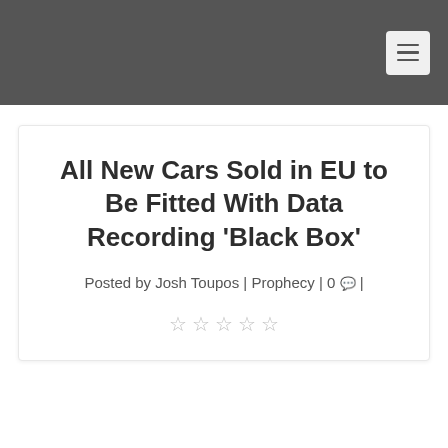☰
All New Cars Sold in EU to Be Fitted With Data Recording 'Black Box'
Posted by Josh Toupos | Prophecy | 0 💬 |
★★★★★